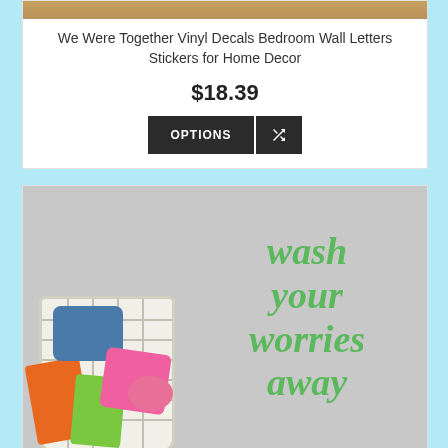[Figure (photo): Product image top strip showing wooden surface]
We Were Together Vinyl Decals Bedroom Wall Letters Stickers for Home Decor
$18.39
[Figure (photo): Laundry room product photo showing a wicker basket with colorful clothes and green vinyl wall decal reading 'wash your worries away' in cursive lettering on a gray wall]